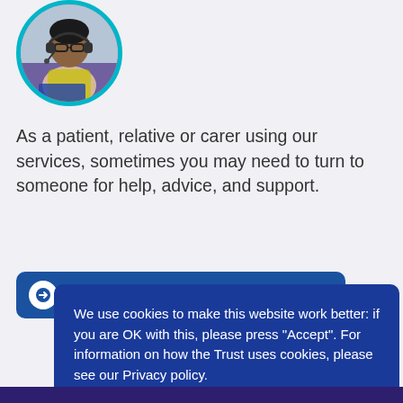[Figure (photo): Circular cropped photo of a woman wearing a headset, sitting at a desk, framed with a teal/cyan circular border]
As a patient, relative or carer using our services, sometimes you may need to turn to someone for help, advice, and support.
→ Patient Advice and Liaison service
We use cookies to make this website work better: if you are OK with this, please press "Accept". For information on how the Trust uses cookies, please see our Privacy policy.
Accept